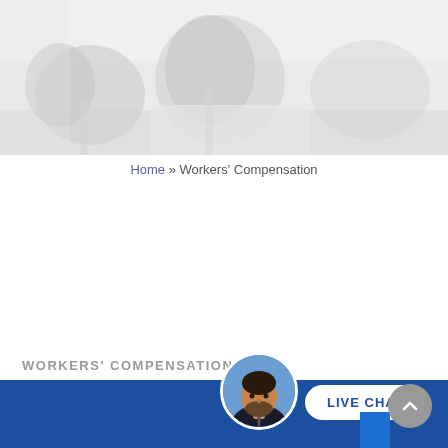[Figure (photo): Faded/desaturated outdoor landscape photo showing trees, shrubs, and a path or street, used as a hero banner image at the top of the page.]
Home » Workers' Compensation
WORKERS' COMPENSATION
Wha...
[Figure (photo): Circular avatar photo of a bearded man in a dark suit, used as a live chat agent icon.]
LIVE CHAT